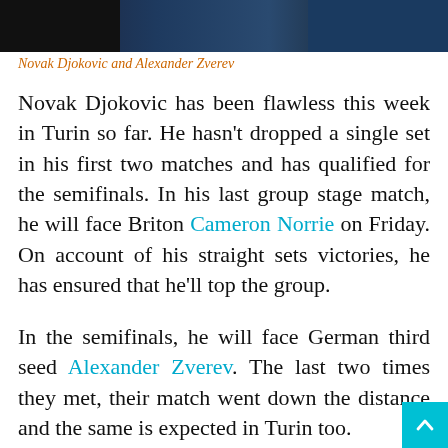[Figure (photo): Photo strip showing Novak Djokovic and Alexander Zverev at the top of the article]
Novak Djokovic and Alexander Zverev
Novak Djokovic has been flawless this week in Turin so far. He hasn't dropped a single set in his first two matches and has qualified for the semifinals. In his last group stage match, he will face Briton Cameron Norrie on Friday. On account of his straight sets victories, he has ensured that he'll top the group.
In the semifinals, he will face German third seed Alexander Zverev. The last two times they met, their match went down the distance and the same is expected in Turin too.